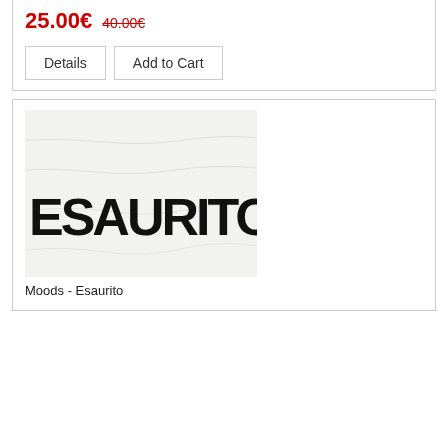25.00€  40.00€
Details  Add to Cart
[Figure (photo): White t-shirt with large bold black text reading ESAURITO]
Moods - Esaurito